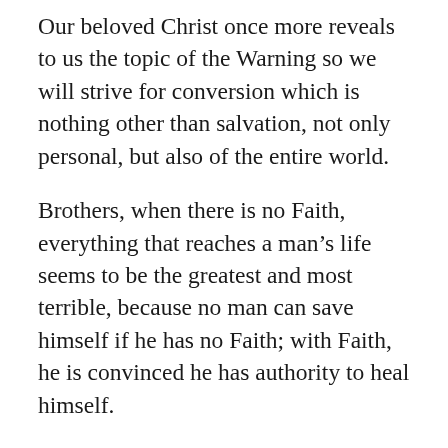Our beloved Christ once more reveals to us the topic of the Warning so we will strive for conversion which is nothing other than salvation, not only personal, but also of the entire world.
Brothers, when there is no Faith, everything that reaches a man's life seems to be the greatest and most terrible, because no man can save himself if he has no Faith; with Faith, he is convinced he has authority to heal himself.
Man has intelligence, but it is contaminated by everything he receives, which makes him feel useless and without self-control, because his intelligence, his thoughts, and his reason constantly remind him of his mistakes and do not let him heal, forgive himself, or allow God to forgive him.